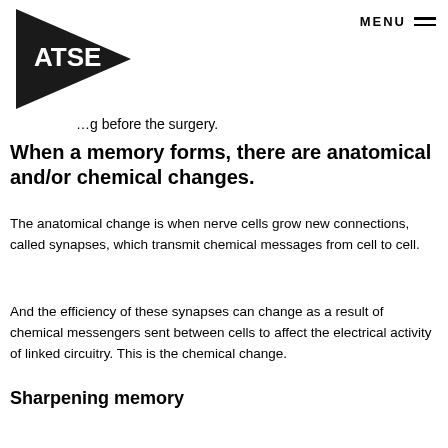[Figure (logo): ATSE logo — black triangle/arrow shape with white text 'ATSE']
…g before the surgery.
When a memory forms, there are anatomical and/or chemical changes.
The anatomical change is when nerve cells grow new connections, called synapses, which transmit chemical messages from cell to cell.
And the efficiency of these synapses can change as a result of chemical messengers sent between cells to affect the electrical activity of linked circuitry. This is the chemical change.
Sharpening memory
Interestingly, studies suggest that sleep is important for memory storage, and memory-associated changes take place to a greater extent if we are physically and mentally active.